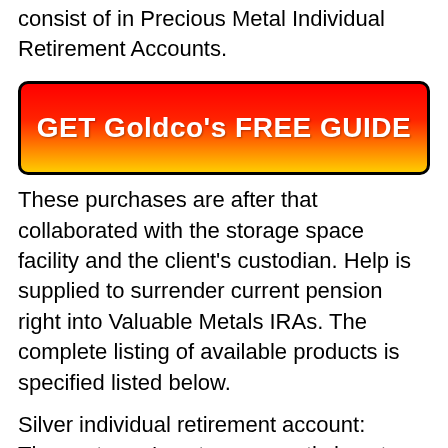consist of in Precious Metal Individual Retirement Accounts.
[Figure (other): Red to yellow gradient button with text 'GET Goldco's FREE GUIDE']
These purchases are after that collaborated with the storage space facility and the client's custodian. Help is supplied to surrender current pension right into Valuable Metals IRAs. The complete listing of available products is specified listed below.
Silver individual retirement account:
The customer's not sure exactly how to start a Silver individual retirement account obtain pointers from the company including which silver coins are acceptable.